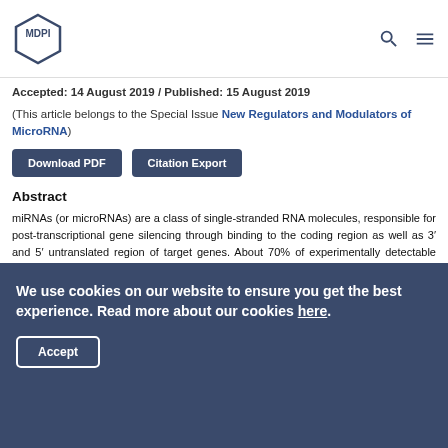MDPI
Accepted: 14 August 2019 / Published: 15 August 2019
(This article belongs to the Special Issue New Regulators and Modulators of MicroRNA)
Download PDF | Citation Export
Abstract
miRNAs (or microRNAs) are a class of single-stranded RNA molecules, responsible for post-transcriptional gene silencing through binding to the coding region as well as 3′ and 5′ untranslated region of target genes. About 70% of experimentally detectable miRNAs are expressed in the brain
We use cookies on our website to ensure you get the best experience. Read more about our cookies here. Accept